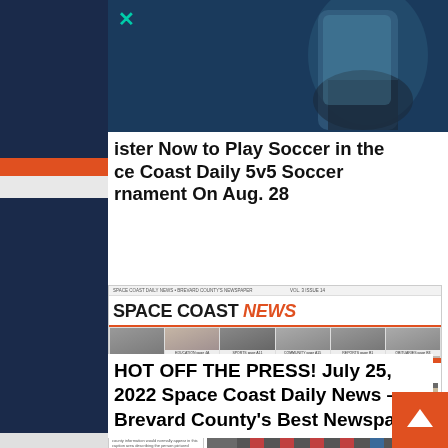[Figure (photo): Website screenshot showing a dark blue background with a hand holding a phone, partial content visible, with an X close button in teal color]
Register Now to Play Soccer in the Space Coast Daily 5v5 Soccer Tournament On Aug. 28
[Figure (screenshot): Space Coast News newspaper front page showing headline 'Viera Hospital Stages Health First's Third Active Shooter Drill With First Responders', photos of people, and story about Brevard County Commission]
HOT OFF THE PRESS! July 25, 2022 Space Coast Daily News – Brevard County's Best Newspaper